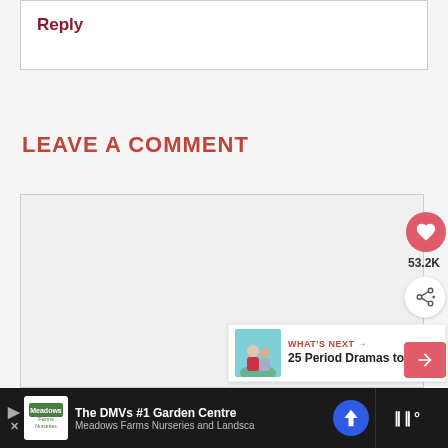Reply
LEAVE A COMMENT
[Figure (screenshot): Comment form area with like button showing 53.2K, share button, and What's Next panel showing '25 Period Dramas to...']
[Figure (infographic): Advertisement bar at bottom: 'The DMVs #1 Garden Centre - Meadows Farms Nurseries and Landsca...' with navigation arrow icon and Tidal music app icon]